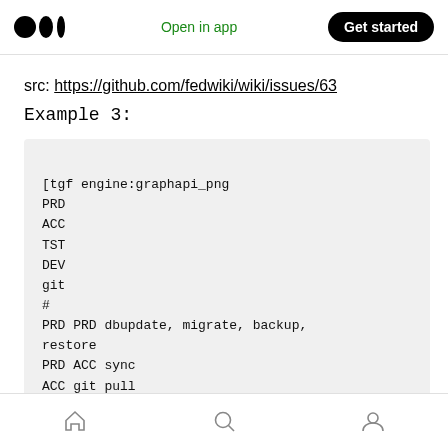Medium — Open in app | Get started
src: https://github.com/fedwiki/wiki/issues/63
Example 3:
[tgf engine:graphapi_png
PRD
ACC
TST
DEV
git
#
PRD PRD dbupdate, migrate, backup, restore
PRD ACC sync
ACC git pull
DEV git commit, push
Home | Search | Profile